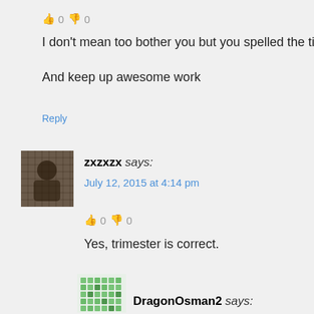👍 0 👎 0
I don't mean too bother you but you spelled the title trime
And keep up awesome work
Reply
[Figure (photo): Small avatar photo of user zxzxzx, showing a dark image]
zxzxzx says:
July 12, 2015 at 4:14 pm
👍 0 👎 0
Yes, trimester is correct.
Reply
[Figure (photo): Small green avatar icon for DragonOsman2]
DragonOsman2 says: